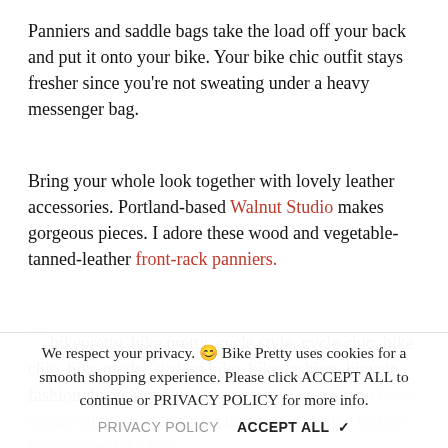Panniers and saddle bags take the load off your back and put it onto your bike. Your bike chic outfit stays fresher since you're not sweating under a heavy messenger bag.
Bring your whole look together with lovely leather accessories. Portland-based Walnut Studio makes gorgeous pieces. I adore these wood and vegetable-tanned-leather front-rack panniers.
[Figure (other): Small broken image icon followed by alt text listing bike fashion keywords: bikepretty, bike pretty, cycle style, cycle chic, bike chic, bike model, girl on bike, bike fashion, bicycle fashion, bicycle fashion blog, cute bike, girls on bikes, model on bike, bike girls, cute walnut tanned leather bag feature bike bag (faded/greyed text partially covered by cookie banner)]
We respect your privacy. 😊 Bike Pretty uses cookies for a smooth shopping experience. Please click ACCEPT ALL to continue or PRIVACY POLICY for more info.
PRIVACY ALL   ACCEPT ALL ✔